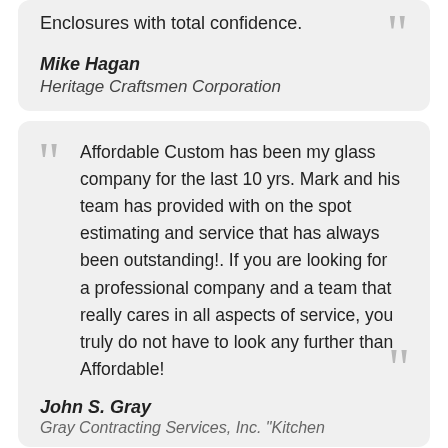Enclosures with total confidence.
Mike Hagan
Heritage Craftsmen Corporation
Affordable Custom has been my glass company for the last 10 yrs. Mark and his team has provided with on the spot estimating and service that has always been outstanding!. If you are looking for a professional company and a team that really cares in all aspects of service, you truly do not have to look any further than Affordable!
John S. Gray
Gray Contracting Services, Inc. "Kitchen